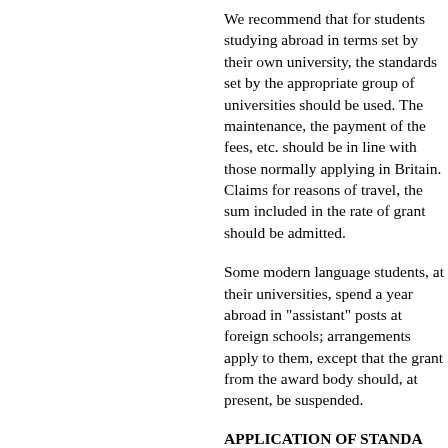We recommend that for students studying abroad in terms set by their own university, the standards set by the appropriate group of universities should be used. The maintenance, the payment of the fees, etc. should be in line with those normally applying in Britain. Claims for reasons of travel, the sum included in the rate of grant should be admitted.
Some modern language students, at their universities, spend a year abroad in "assistant" posts at foreign schools; arrangements apply to them, except that the grant from the award body should, at present, be suspended.
APPLICATION OF STANDARDS TO STUDENTS FOLLOWING
Full-time courses
120. At present in England and maintenance applied to students should be their in London